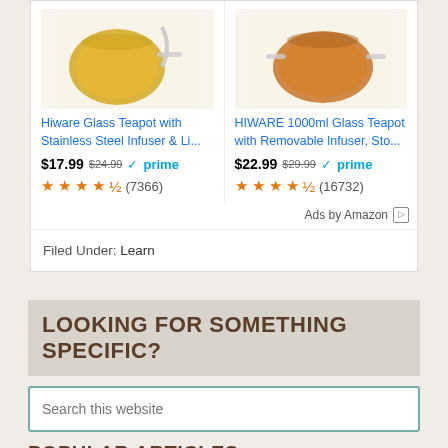[Figure (photo): Hiware glass teapot product image - top portion cut off]
[Figure (photo): HIWARE 1000ml glass teapot product image - top portion cut off]
Hiware Glass Teapot with Stainless Steel Infuser & Li...
HIWARE 1000ml Glass Teapot with Removable Infuser, Sto...
$17.99 $24.99 ✓prime
$22.99 $29.99 ✓prime
★★★★½ (7366)
★★★★½ (16732)
Ads by Amazon
Filed Under: Learn
LOOKING FOR SOMETHING SPECIFIC?
Search this website
POPULAR ARTICLES
LEARN ABOUT TEA